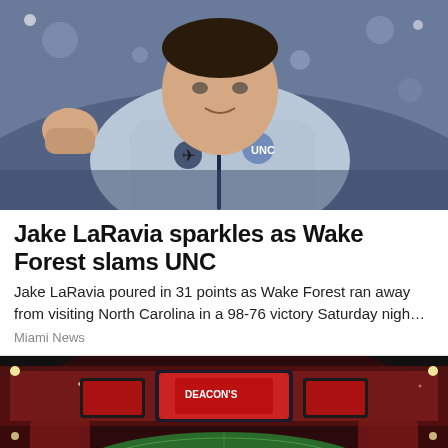[Figure (photo): A man in a light blue UNC/Jordan Brand quarter-zip pullover giving a thumbs up, photographed at a basketball arena. The Jordan Brand jumpman logo is visible on the chest.]
Jake LaRavia sparkles as Wake Forest slams UNC
Jake LaRavia poured in 31 points as Wake Forest ran away from visiting North Carolina in a 98-76 victory Saturday nigh…
Miami News
[Figure (photo): Aerial night view of a packed football stadium with red-clad fans. The field shows 'GO BUCS' text and a large video scoreboard glows in the background. Banner text reads 'BUCCANEERS GAME DAY STADIUM RD'.]